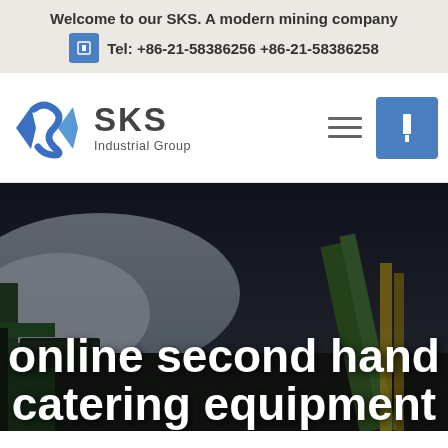Welcome to our SKS. A modern mining company
Tel: +86-21-58386256 +86-21-58386258
[Figure (logo): SKS Industrial Group logo with blue angular S-shaped diamond icon and bold SKS text with 'Industrial Group' subtitle]
online second hand catering equipment